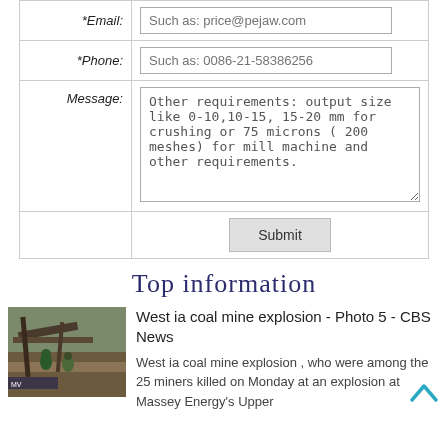| Field | Input |
| --- | --- |
| *Email: | Such as: price@pejaw.com |
| *Phone: | Such as: 0086-21-58386256 |
| Message: | Other requirements: output size like 0-10,10-15, 15-20 mm for crushing or 75 microns ( 200 meshes) for mill machine and other requirements. |
|  | Submit |
Top information
[Figure (photo): Photo of workers at a coal mine site with industrial equipment]
West ia coal mine explosion - Photo 5 - CBS News
West ia coal mine explosion , who were among the 25 miners killed on Monday at an explosion at Massey Energy's Upper